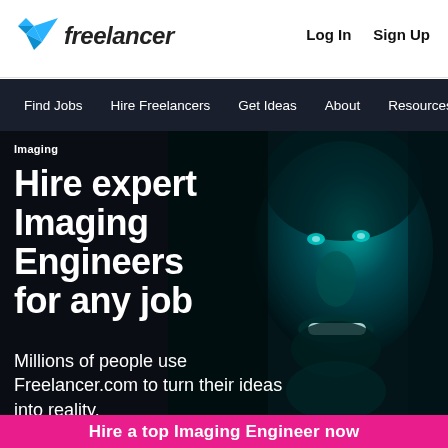[Figure (logo): Freelancer.com logo with cyan geometric bird/arrow icon and wordmark 'freelancer']
Log In   Sign Up
Find Jobs   Hire Freelancers   Get Ideas   About   Resources
Imaging
Hire expert Imaging Engineers for any job
Millions of people use Freelancer.com to turn their ideas into reality.
[Figure (photo): Close-up portrait of a smiling man with cyan/teal lighting on his face against a dark background]
Hire a top Imaging Engineer now